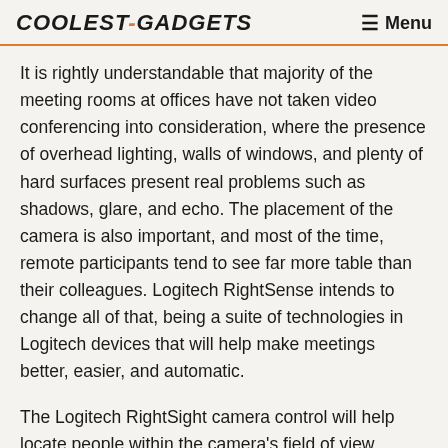COOLEST-GADGETS   Menu
It is rightly understandable that majority of the meeting rooms at offices have not taken video conferencing into consideration, where the presence of overhead lighting, walls of windows, and plenty of hard surfaces present real problems such as shadows, glare, and echo. The placement of the camera is also important, and most of the time, remote participants tend to see far more table than their colleagues. Logitech RightSense intends to change all of that, being a suite of technologies in Logitech devices that will help make meetings better, easier, and automatic.
The Logitech RightSight camera control will help locate people within the camera's field of view,